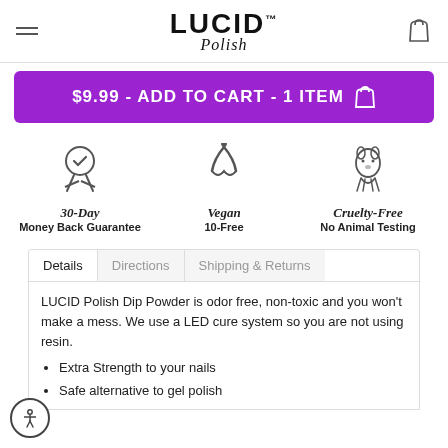LUCID Polish
$9.99 - ADD TO CART - 1 ITEM
[Figure (infographic): Three badge icons: award medal for 30-Day Money Back Guarantee, vegan leaf symbol for Vegan 10-Free, rabbit for Cruelty-Free No Animal Testing]
Details | Directions | Shipping & Returns
LUCID Polish Dip Powder is odor free, non-toxic and you won't make a mess. We use a LED cure system so you are not using resin.
Extra Strength to your nails
Safe alternative to gel polish